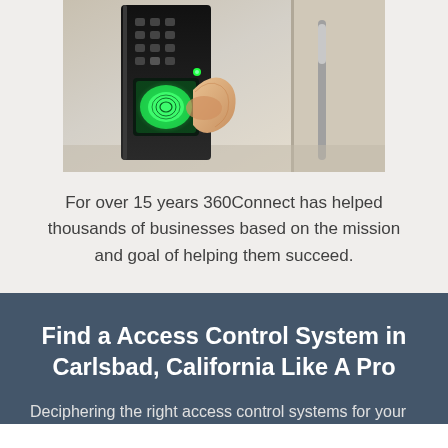[Figure (photo): A hand pressing a finger onto a fingerprint biometric access control keypad device with a green light glowing, mounted on a wall near a door.]
For over 15 years 360Connect has helped thousands of businesses based on the mission and goal of helping them succeed.
Find a Access Control System in Carlsbad, California Like A Pro
Deciphering the right access control systems for your